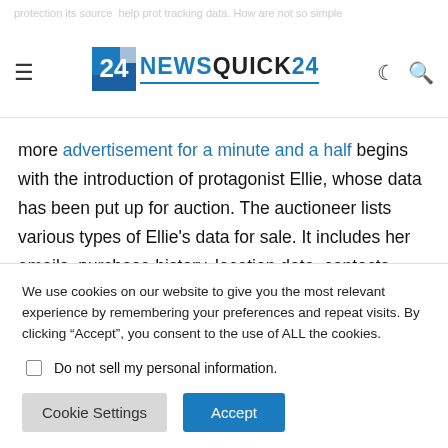NewsQuick24 - website header with logo, hamburger menu, dark mode and search icons
more advertisement for a minute and a half begins with the introduction of protagonist Ellie, whose data has been put up for auction. The auctioneer lists various types of Ellie's data for sale. It includes her emails, purchase history, location data, contacts, browser history, and text messages.
We use cookies on our website to give you the most relevant experience by remembering your preferences and repeat visits. By clicking “Accept”, you consent to the use of ALL the cookies.
Do not sell my personal information.